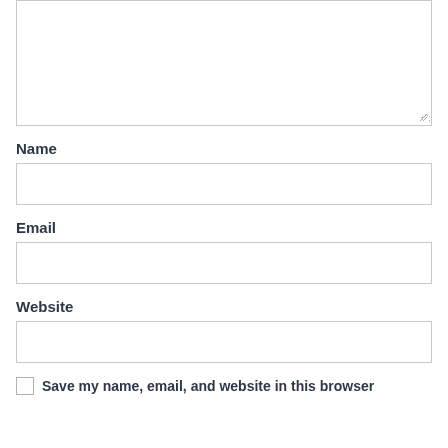[textarea – comment input box]
Name
[text input – Name]
Email
[text input – Email]
Website
[text input – Website]
Save my name, email, and website in this browser